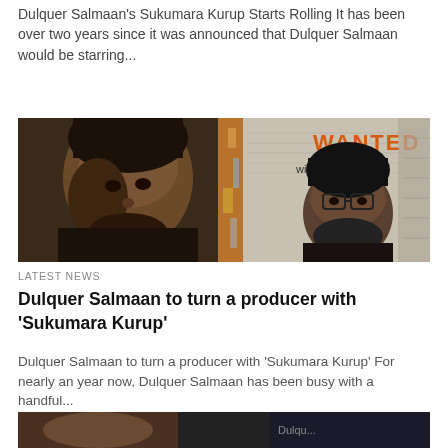Dulquer Salmaan's Sukumara Kurup Starts Rolling It has been over two years since it was announced that Dulquer Salmaan would be starring...
[Figure (photo): Composite movie promotional image showing Dulquer Salmaan on the left side with a WANTED poster on the right side featuring another actor with glasses]
LATEST NEWS
Dulquer Salmaan to turn a producer with ‘Sukumara Kurup’
Dulquer Salmaan to turn a producer with ‘Sukumara Kurup’ For nearly an year now, Dulquer Salmaan has been busy with a handful...
[Figure (photo): Partial view of another article image at the bottom of the page]